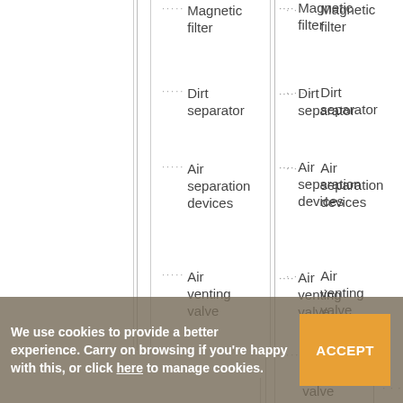[Figure (other): Partial hierarchical tree diagram showing equipment categories: Magnetic filter, Dirt separator, Air separation devices, Air venting valve (at one level), then Compact relief valve, Solar relief valve, Standard relief valve (at a deeper level). Vertical dotted lines indicate hierarchy. Bottom portion partially obscured by cookie consent banner.]
We use cookies to provide a better experience. Carry on browsing if you're happy with this, or click here to manage cookies. ACCEPT